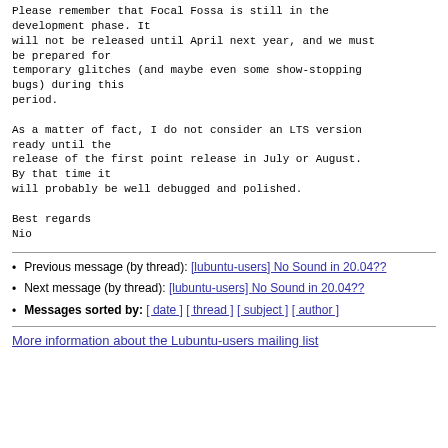Please remember that Focal Fossa is still in the development phase. It will not be released until April next year, and we must be prepared for temporary glitches (and maybe even some show-stopping bugs) during this period.

As a matter of fact, I do not consider an LTS version ready until the release of the first point release in July or August. By that time it will probably be well debugged and polished.

Best regards
Nio
Previous message (by thread): [lubuntu-users] No Sound in 20.04??
Next message (by thread): [lubuntu-users] No Sound in 20.04??
Messages sorted by: [ date ] [ thread ] [ subject ] [ author ]
More information about the Lubuntu-users mailing list